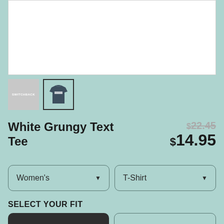[Figure (photo): Main product image area showing white background — product image cropped out of view]
[Figure (photo): Thumbnail 1: gray placeholder with SWITCHBACK text logo]
[Figure (photo): Thumbnail 2 (selected, with dark border): small dark navy t-shirt with white text graphic]
White Grungy Text Tee
$22.45 (strikethrough original price)
$14.95 (sale price)
Women's (dropdown)
T-Shirt (dropdown)
SELECT YOUR FIT